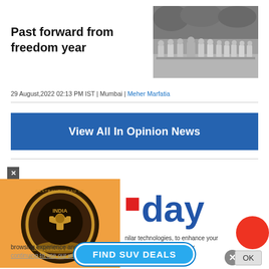Past forward from freedom year
[Figure (photo): Black and white group photograph of people seated outdoors under trees]
29 August,2022 02:13 PM IST | Mumbai | Meher Marfatia
View All In Opinion News
[Figure (photo): CBI (Central Bureau of Investigation) India emblem badge on orange background]
[Figure (logo): .day logo with blue bold text and red square]
nilar technologies, to enhance your browsing experience and provide personalised recommendations. By continuing to use our website, you agree to our Privacy Policy and
FIND SUV DEALS
OK